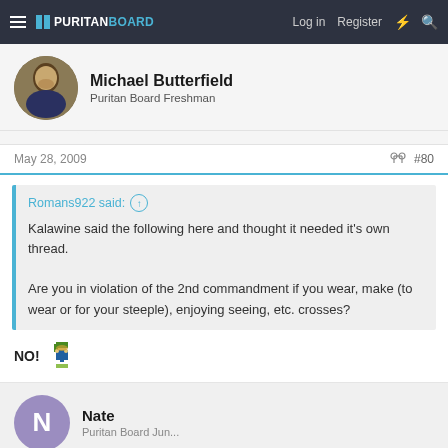Puritan Board — Log in  Register
Michael Butterfield
Puritan Board Freshman
May 28, 2009  #80
Romans922 said:
Kalawine said the following here and thought it needed it's own thread.

Are you in violation of the 2nd commandment if you wear, make (to wear or for your steeple), enjoying seeing, etc. crosses?
NO!
Nate